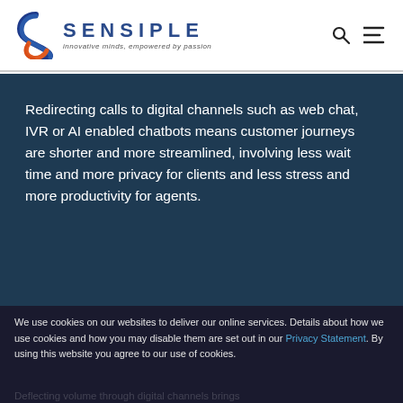[Figure (logo): Sensiple logo with stylized S icon in blue and orange, company name SENSIPLE in blue, tagline 'innovative minds, empowered by passion' in gray italic]
Redirecting calls to digital channels such as web chat, IVR or AI enabled chatbots means customer journeys are shorter and more streamlined, involving less wait time and more privacy for clients and less stress and more productivity for agents.
We use cookies on our websites to deliver our online services. Details about how we use cookies and how you may disable them are set out in our Privacy Statement. By using this website you agree to our use of cookies.
Deflecting volume through digital channels brings